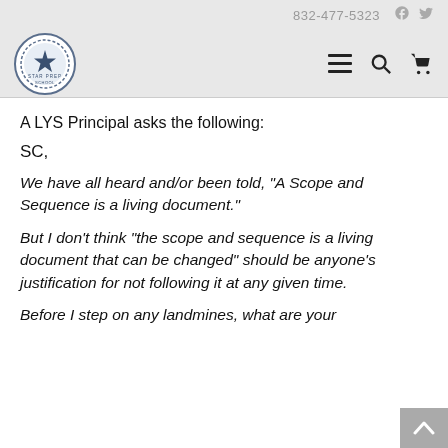832-477-5323
[Figure (logo): Star school logo — circular badge with a star and text around it]
A LYS Principal asks the following:
SC,
We have all heard and/or been told, “A Scope and Sequence is a living document.”
But I don’t think “the scope and sequence is a living document that can be changed” should be anyone’s justification for not following it at any given time.
Before I step on any landmines, what are your